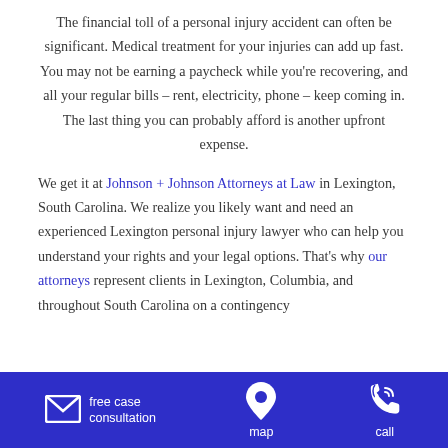The financial toll of a personal injury accident can often be significant. Medical treatment for your injuries can add up fast. You may not be earning a paycheck while you're recovering, and all your regular bills – rent, electricity, phone – keep coming in. The last thing you can probably afford is another upfront expense.
We get it at Johnson + Johnson Attorneys at Law in Lexington, South Carolina. We realize you likely want and need an experienced Lexington personal injury lawyer who can help you understand your rights and your legal options. That's why our attorneys represent clients in Lexington, Columbia, and throughout South Carolina on a contingency
free case consultation | map | call